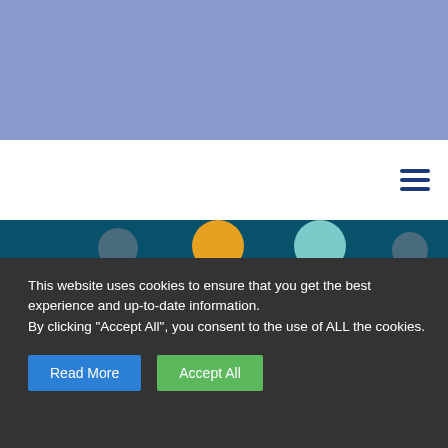[Figure (illustration): Blue/purple banner background at top of webpage]
[Figure (illustration): White navigation bar with dark blue hamburger menu icon on the right]
[Figure (illustration): Teal/dark cyan section with illustrated figures showing people with orange and teal circular shapes representing heads]
This website uses cookies to ensure that you get the best experience and up-to-date information.
By clicking "Accept All", you consent to the use of ALL the cookies.
Read More
Accept All